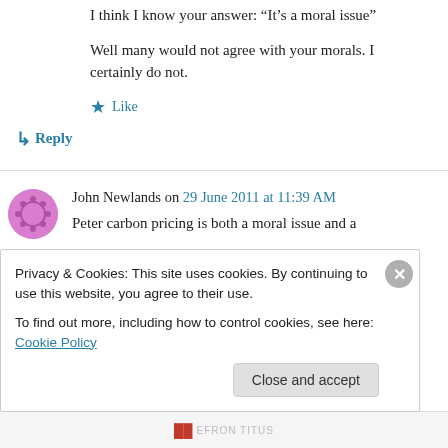I think I know your answer: “It’s a moral issue”
Well many would not agree with your morals. I certainly do not.
★ Like
↳ Reply
John Newlands on 29 June 2011 at 11:39 AM
Peter carbon pricing is both a moral issue and a
Privacy & Cookies: This site uses cookies. By continuing to use this website, you agree to their use.
To find out more, including how to control cookies, see here: Cookie Policy
Close and accept